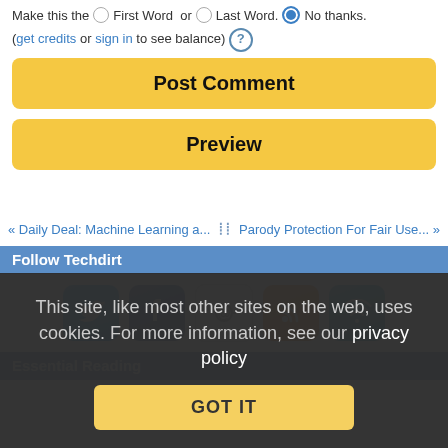Make this the  First Word  or  Last Word.  No thanks.
(get credits or sign in to see balance) ?
Post Comment
Preview
« Daily Deal: Machine Learning a...    Parody Protection For Fair Use... »
Follow Techdirt
[Figure (infographic): Social media icons: Twitter, Facebook, Email, RSS, WiFi/Techdirt feed]
Essential Reading
This site, like most other sites on the web, uses cookies. For more information, see our privacy policy
GOT IT